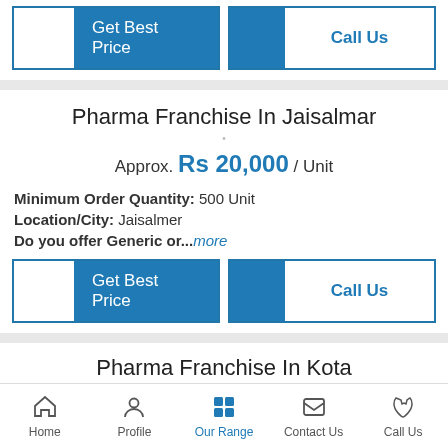[Figure (other): Get Best Price and Call Us buttons row (top)]
Pharma Franchise In Jaisalmar
Approx. Rs 20,000 / Unit
Minimum Order Quantity: 500 Unit
Location/City: Jaisalmer
Do you offer Generic or...more
[Figure (other): Get Best Price and Call Us buttons row (bottom)]
Pharma Franchise In Kota
Home | Profile | Our Range | Contact Us | Call Us